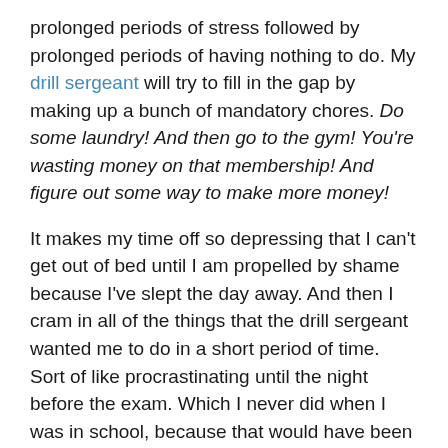prolonged periods of stress followed by prolonged periods of having nothing to do. My drill sergeant will try to fill in the gap by making up a bunch of mandatory chores. Do some laundry! And then go to the gym! You're wasting money on that membership! And figure out some way to make more money!
It makes my time off so depressing that I can't get out of bed until I am propelled by shame because I've slept the day away. And then I cram in all of the things that the drill sergeant wanted me to do in a short period of time. Sort of like procrastinating until the night before the exam. Which I never did when I was in school, because that would have been unproductive.
This is another reason why I prefer the concept of self-worth over self-esteem. In order to have high self-esteem,